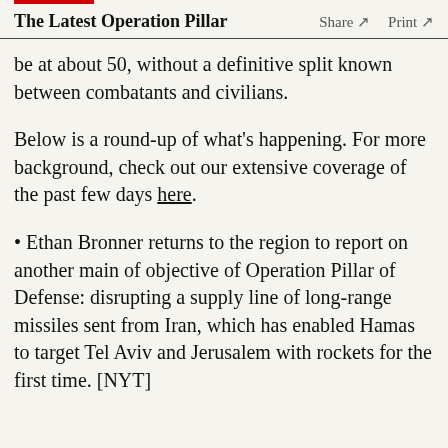The Latest Operation Pillar  Share ↗  Print ↗
be at about 50, without a definitive split known between combatants and civilians.
Below is a round-up of what's happening. For more background, check out our extensive coverage of the past few days here.
• Ethan Bronner returns to the region to report on another main of objective of Operation Pillar of Defense: disrupting a supply line of long-range missiles sent from Iran, which has enabled Hamas to target Tel Aviv and Jerusalem with rockets for the first time. [NYT]